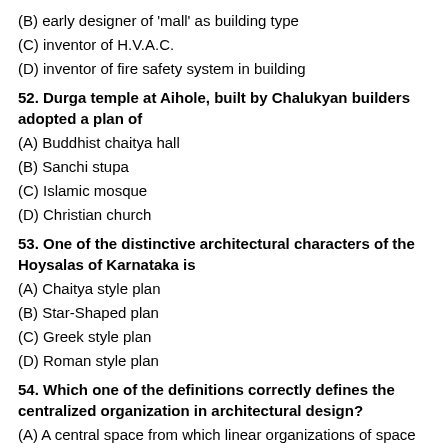(B) early designer of 'mall' as building type
(C) inventor of H.V.A.C.
(D) inventor of fire safety system in building
52. Durga temple at Aihole, built by Chalukyan builders adopted a plan of
(A) Buddhist chaitya hall
(B) Sanchi stupa
(C) Islamic mosque
(D) Christian church
53. One of the distinctive architectural characters of the Hoysalas of Karnataka is
(A) Chaitya style plan
(B) Star-Shaped plan
(C) Greek style plan
(D) Roman style plan
54. Which one of the definitions correctly defines the centralized organization in architectural design?
(A) A central space from which linear organizations of space extend in a radial manner.
(B) Spaces grouped by proximity or the sharing of a common visual trait or relationship.